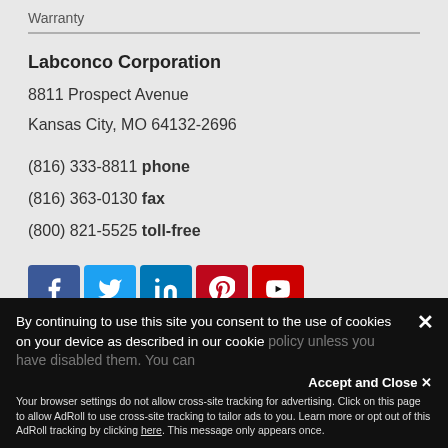Warranty
Labconco Corporation
8811 Prospect Avenue
Kansas City, MO 64132-2696
(816) 333-8811 phone
(816) 363-0130 fax
(800) 821-5525 toll-free
[Figure (other): Social media icons: Facebook, Twitter, LinkedIn, Pinterest, YouTube]
By continuing to use this site you consent to the use of cookies on your device as described in our cookie policy unless you have disabled them. You can
Accept and Close ✕
Your browser settings do not allow cross-site tracking for advertising. Click on this page to allow AdRoll to use cross-site tracking to tailor ads to you. Learn more or opt out of this AdRoll tracking by clicking here. This message only appears once.